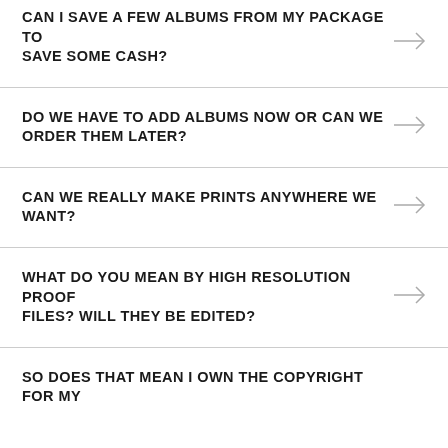CAN I SAVE A FEW ALBUMS FROM MY PACKAGE TO SAVE SOME CASH?
DO WE HAVE TO ADD ALBUMS NOW OR CAN WE ORDER THEM LATER?
CAN WE REALLY MAKE PRINTS ANYWHERE WE WANT?
WHAT DO YOU MEAN BY HIGH RESOLUTION PROOF FILES? WILL THEY BE EDITED?
SO DOES THAT MEAN I OWN THE COPYRIGHT FOR MY